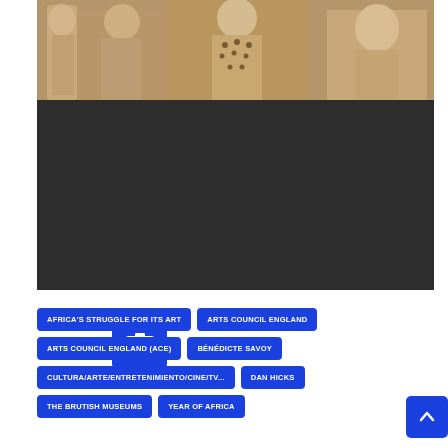[Figure (photo): Museum sculptures/artifacts displayed against a warm beige background — carved figurines visible from waist up]
[Figure (screenshot): Dark gray panel below the photo — appears to be a video/slideshow area with a camera icon button in the lower left]
AFRICA'S STRUGGLE FOR ITS ART
ARTS COUNCIL ENGLAND
ARTS COUNCIL ENGLAND (ACE)
BÉNÉDICTE SAVOY
CULTURA/ARTE/ENTRETENIMIENTO/CINE/TV...
DAN HICKS
THE BRUTISH MUSEUMS
YEAR OF AFRICA